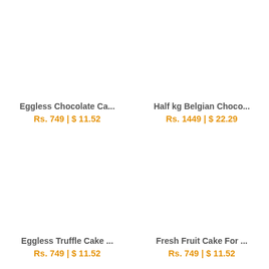Eggless Chocolate Ca...
Rs. 749 | $ 11.52
Half kg Belgian Choco...
Rs. 1449 | $ 22.29
Eggless Truffle Cake ...
Rs. 749 | $ 11.52
Fresh Fruit Cake For ...
Rs. 749 | $ 11.52